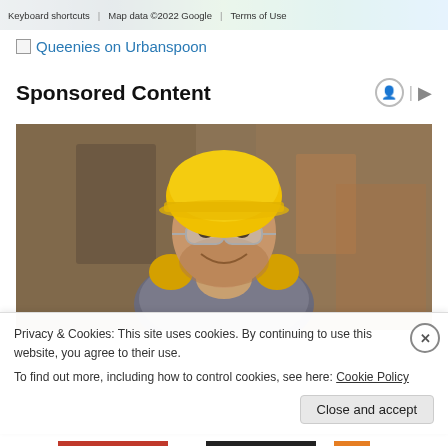[Figure (screenshot): Google Maps footer bar showing Keyboard shortcuts, Map data ©2022 Google, Terms of Use]
Queenies on Urbanspoon
Sponsored Content
[Figure (photo): A smiling male construction worker wearing a yellow hard hat, safety glasses, and yellow ear protection, in an industrial/construction setting]
Privacy & Cookies: This site uses cookies. By continuing to use this website, you agree to their use.
To find out more, including how to control cookies, see here: Cookie Policy
Close and accept